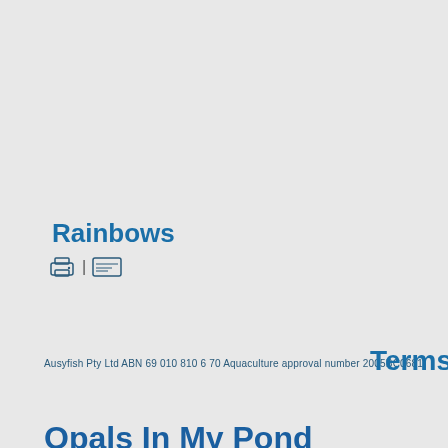Rainbows
[Figure (other): Printer icon and card/document icon with vertical divider]
Ausyfish Pty Ltd ABN 69 010 810 6 70 Aquaculture approval number 2005BC0681
Terms a
Opals In My Pond